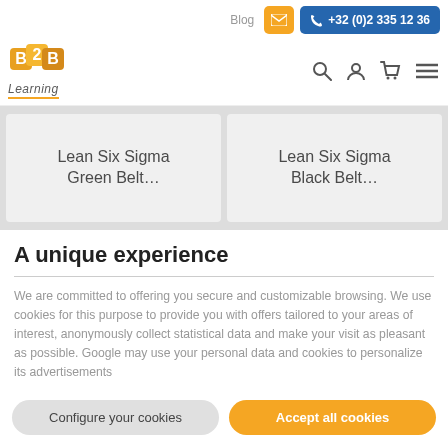Blog | +32 (0)2 335 12 36
[Figure (logo): B2B Learning logo with colored blocks and text]
[Figure (infographic): Navigation icons: search, user, cart, menu]
Lean Six Sigma Green Belt…
Lean Six Sigma Black Belt…
A unique experience
We are committed to offering you secure and customizable browsing. We use cookies for this purpose to provide you with offers tailored to your areas of interest, anonymously collect statistical data and make your visit as pleasant as possible. Google may use your personal data and cookies to personalize its advertisements
Configure your cookies
Accept all cookies